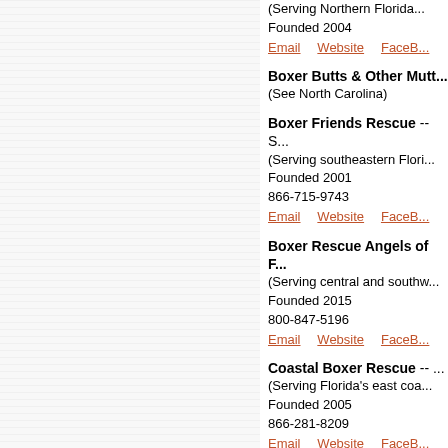Founded 2004
Email   Website   FaceB...
Boxer Butts & Other Mutt... (See North Carolina)
Boxer Friends Rescue -- S... (Serving southeastern Flori... Founded 2001 866-715-9743 Email   Website   FaceB...
Boxer Rescue Angels of F... (Serving central and southw... Founded 2015 800-847-5196 Email   Website   FaceB...
Coastal Boxer Rescue -- S... (Serving Florida's east coa... Founded 2005 866-281-8209 Email   Website   FaceB...
Florida Boxer Rescue -- S... (Serving central and weste... Founded 2000 888-612-5782 Email   Website   FaceB...
Out of the Box Boxer R...